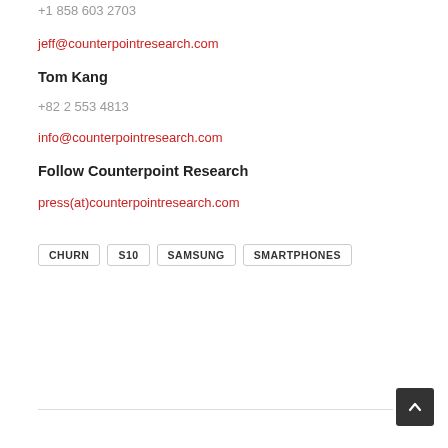+1 858 603 2703
jeff@counterpointresearch.com
Tom Kang
+82 2 553 4813
info@counterpointresearch.com
Follow Counterpoint Research
press(at)counterpointresearch.com
CHURN
S10
SAMSUNG
SMARTPHONES